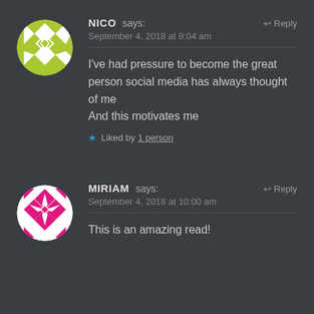NICO says: Reply
September 4, 2018 at 8:04 am
I've had pressure to become the great person social media has always thought of me
And this motivates me
★ Liked by 1 person
MIRIAM says: Reply
September 4, 2018 at 10:00 am
This is an amazing read!